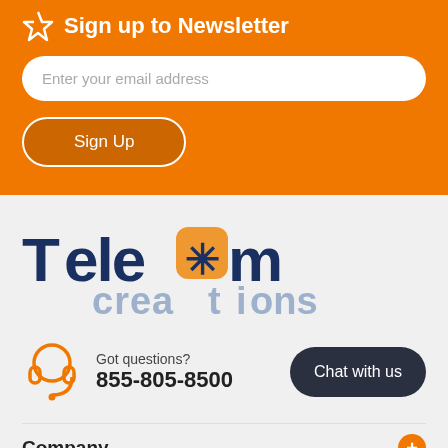Sign up to Newsletter
Enter your email address
Sign Up
[Figure (logo): Telecom Creations company logo with dark blue 'Telecom' text and light blue 'creations' text, featuring an orange asterisk star symbol inside a rounded square]
Got questions?
855-805-8500
Chat with us
Company